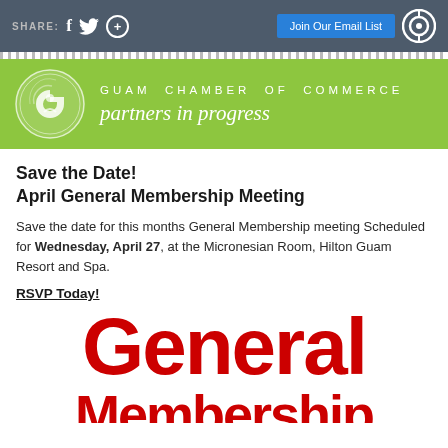SHARE: [Facebook] [Twitter] [+] | Join Our Email List | [Target icon]
[Figure (logo): Guam Chamber of Commerce logo banner — green background with circular logo on left, white text 'GUAM CHAMBER OF COMMERCE' and italic script 'partners in progress']
Save the Date!
April General Membership Meeting
Save the date for this months General Membership meeting Scheduled for Wednesday, April 27, at the Micronesian Room, Hilton Guam Resort and Spa.
RSVP Today!
[Figure (illustration): Large bold red text reading 'General Membership' cropped at bottom of page]